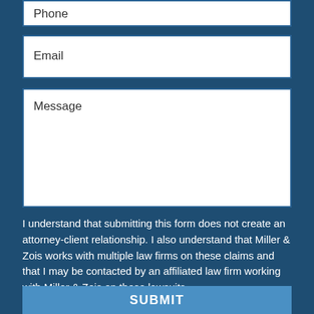[Figure (other): Form field labeled Phone (partially visible at top)]
[Figure (other): Form field labeled Email]
[Figure (other): Form field labeled Message (large textarea)]
I understand that submitting this form does not create an attorney-client relationship. I also understand that Miller & Zois works with multiple law firms on these claims and that I may be contacted by an affiliated law firm working with Miller & Zois on these lawsuits.
[Figure (other): SUBMIT button]